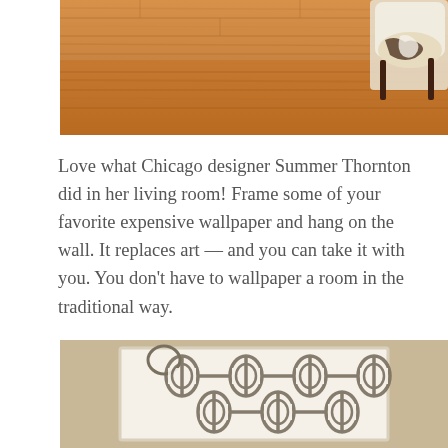[Figure (photo): Interior photo showing a hardwood floor with warm orange-brown tones and a white chair with cowhide seat visible in the upper right corner.]
Love what Chicago designer Summer Thornton did in her living room! Frame some of your favorite expensive wallpaper and hang on the wall. It replaces art — and you can take it with you. You don't have to wallpaper a room in the traditional way.
[Figure (photo): Photo of a framed panel of wallpaper with a Moroccan/quatrefoil geometric pattern in gray and cream/white, hanging on a beige wall.]